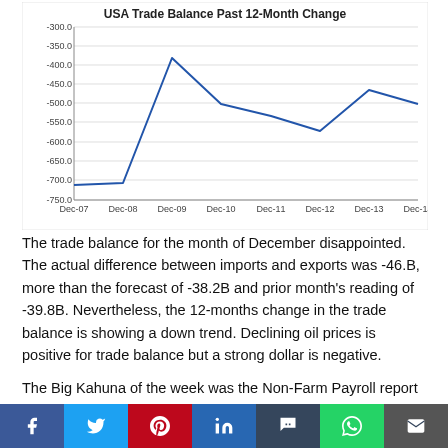[Figure (line-chart): USA Trade Balance Past 12-Month Change]
The trade balance for the month of December disappointed. The actual difference between imports and exports was -46.B, more than the forecast of -38.2B and prior month's reading of -39.8B. Nevertheless, the 12-months change in the trade balance is showing a down trend. Declining oil prices is positive for trade balance but a strong dollar is negative.
The Big Kahuna of the week was the Non-Farm Payroll report by the U.S. Labor Department. It reported, based upon employers survey, that in